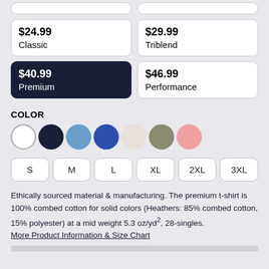$24.99 Classic
$29.99 Triblend
$40.99 Premium (selected)
$46.99 Performance
COLOR
[Figure (infographic): Seven color swatches: white, black/navy, steel blue, royal blue, cream, olive/tan, pink]
Size options: S, M, L, XL, 2XL, 3XL
Ethically sourced material & manufacturing. The premium t-shirt is 100% combed cotton for solid colors (Heathers: 85% combed cotton, 15% polyester) at a mid weight 5.3 oz/yd², 28-singles. More Product Information & Size Chart